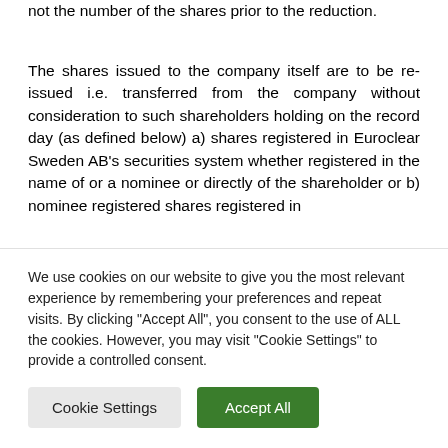not the number of the shares prior to the reduction.
The shares issued to the company itself are to be re-issued i.e. transferred from the company without consideration to such shareholders holding on the record day (as defined below) a) shares registered in Euroclear Sweden AB’s securities system whether registered in the name of or a nominee or directly of the shareholder or b) nominee registered shares registered in
We use cookies on our website to give you the most relevant experience by remembering your preferences and repeat visits. By clicking “Accept All”, you consent to the use of ALL the cookies. However, you may visit “Cookie Settings” to provide a controlled consent.
Cookie Settings
Accept All